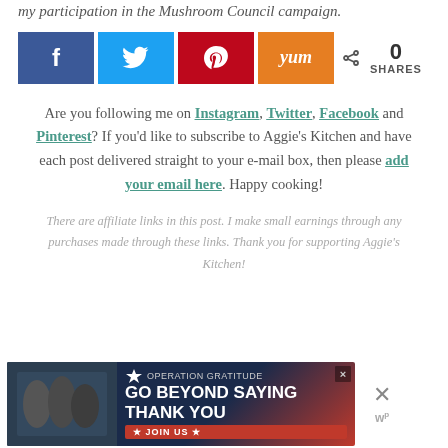my participation in the Mushroom Council campaign.
[Figure (infographic): Social share buttons: Facebook (blue), Twitter (light blue), Pinterest (red), Yummly (orange), and a share count showing 0 SHARES]
Are you following me on Instagram, Twitter, Facebook and Pinterest? If you'd like to subscribe to Aggie's Kitchen and have each post delivered straight to your e-mail box, then please add your email here. Happy cooking!
There are affiliate links in this post. I make small earnings through any purchases made through these links. Thank you for supporting Aggie's Kitchen!
[Figure (photo): Advertisement banner: GO BEYOND SAYING THANK YOU - Operation Gratitude JOIN US, with people in background. Close button (X) on right side with WP logo.]